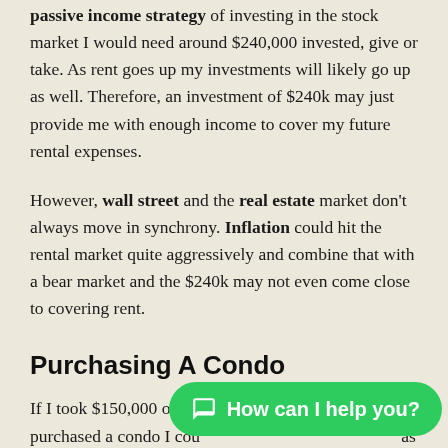passive income strategy of investing in the stock market I would need around $240,000 invested, give or take. As rent goes up my investments will likely go up as well. Therefore, an investment of $240k may just provide me with enough income to cover my future rental expenses.
However, wall street and the real estate market don't always move in synchrony. Inflation could hit the rental market quite aggressively and combine that with a bear market and the $240k may not even come close to covering rent.
Purchasing A Condo
If I took $150,000 of my [savings and] purchased a condo I cou[ld be paying as little] as little as $330 per month. This number includes the